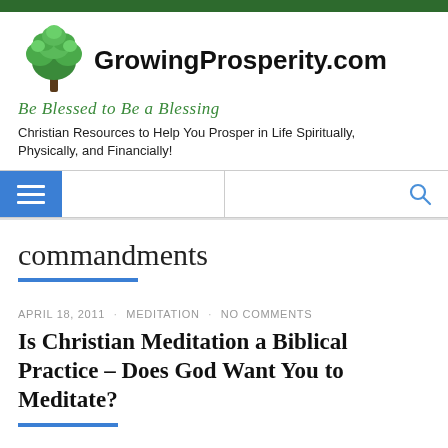[Figure (logo): GrowingProsperity.com website header with green tree logo, site name, italic tagline 'Be Blessed to Be a Blessing', and site description]
GrowingProsperity.com — Be Blessed to Be a Blessing — Christian Resources to Help You Prosper in Life Spiritually, Physically, and Financially!
commandments
APRIL 18, 2011 · MEDITATION · NO COMMENTS
Is Christian Meditation a Biblical Practice – Does God Want You to Meditate?